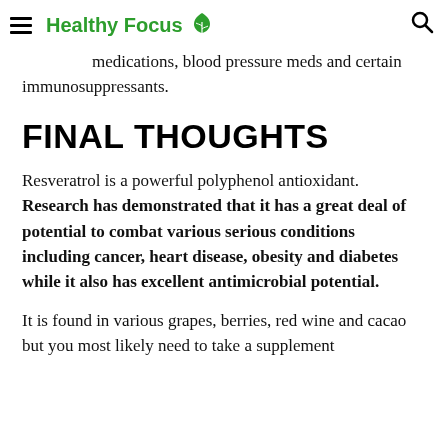Healthy Focus
medications, blood pressure meds and certain immunosuppressants.
FINAL THOUGHTS
Resveratrol is a powerful polyphenol antioxidant. Research has demonstrated that it has a great deal of potential to combat various serious conditions including cancer, heart disease, obesity and diabetes while it also has excellent antimicrobial potential.
It is found in various grapes, berries, red wine and cacao but you most likely need to take a supplement